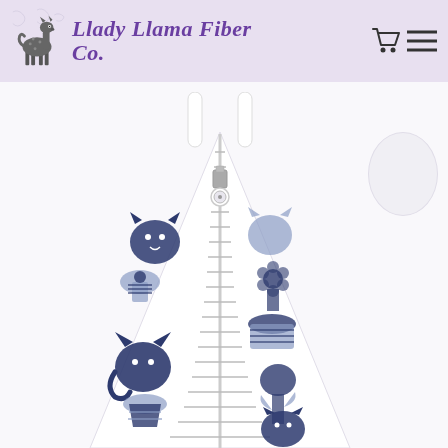Llady Llama Fiber Co.
[Figure (photo): Product photo of a white drawstring/knitting bag with Scandinavian-style folk art print featuring navy blue and lavender cats, foxes, birds, and floral/botanical motifs. The bag has a white zipper at center top and white drawstring handles.]